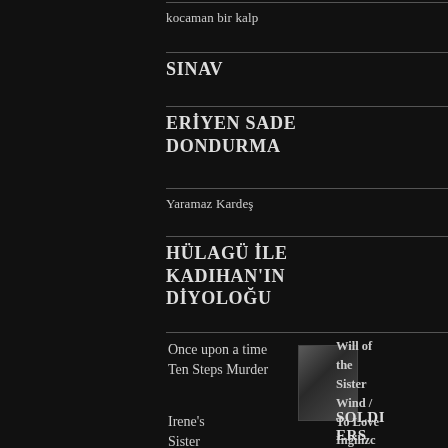kocaman bir kalp
SINAV
ERİYEN SADE DONDURMA
Yaramaz Kardeş
HÜLAGÜ İLE KADIHAN'IN DİYOLOĞU
Once upon a time
Ten Steps Murder
Irene's Sister
Unity is Strengt
Will of the Wind / To Love and to Honor
İngilizce
Türkçe Hikayeler
SOLDI ERS OF THE KANUN